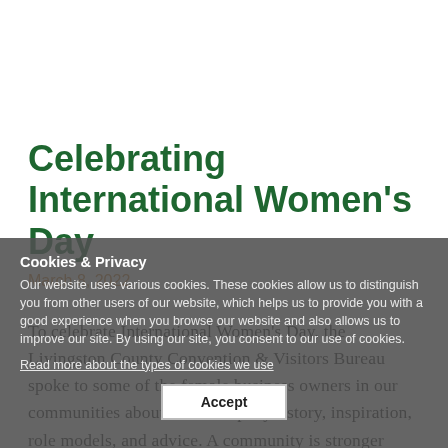Celebrating International Women's Day
March 8, 2022
To celebrate International Women’s Day, the Livingston County Convention & Visitors Bureau spoke to some of the female business owners in our communities about their company’s story, inspiration, role models, and advice. A community is stronger when its members build each other up and support each other and that’s what these business
Cookies & Privacy
Our website uses various cookies. These cookies allow us to distinguish you from other users of our website, which helps us to provide you with a good experience when you browse our website and also allows us to improve our site. By using our site, you consent to our use of cookies.
Read more about the types of cookies we use
Accept